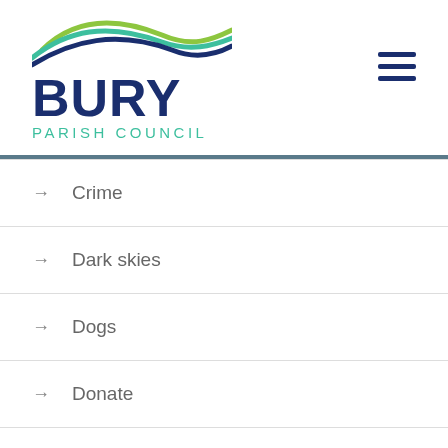[Figure (logo): Bury Parish Council logo with wave graphic in green and blue, bold navy BURY text, teal PARISH COUNCIL text]
→ Crime
→ Dark skies
→ Dogs
→ Donate
→ Dorset House School